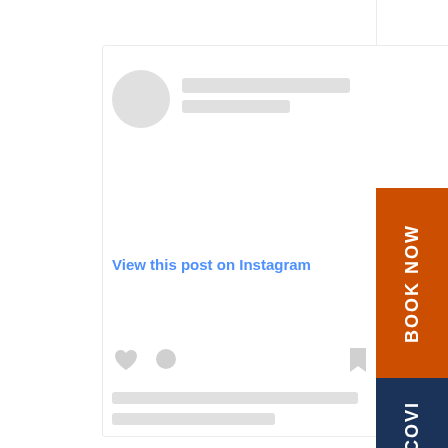[Figure (screenshot): Instagram post embed mockup showing a placeholder card with avatar circle, name placeholder bars, 'View this post on Instagram' link text in blue, heart/comment/bookmark icons, and two text placeholder bars at the bottom.]
View this post on Instagram
[Figure (other): Orange 'BOOK NOW' vertical sidebar button on the right side]
[Figure (other): Dark navy 'COVI...' vertical sidebar button on the right side, partially cut off]